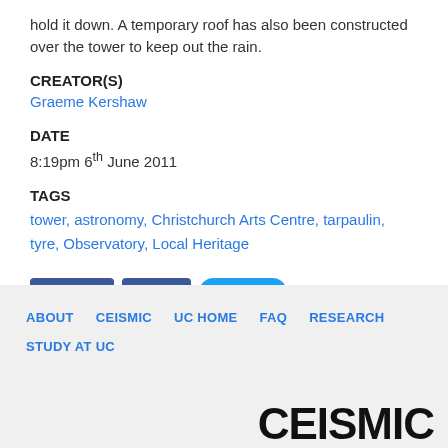hold it down. A temporary roof has also been constructed over the tower to keep out the rain.
CREATOR(S)
Graeme Kershaw
DATE
8:19pm 6th June 2011
TAGS
tower, astronomy, Christchurch Arts Centre, tarpaulin, tyre, Observatory, Local Heritage
[Figure (other): Social media buttons: Like 0, Share, Tweet]
ABOUT   CEISMIC   UC HOME   FAQ   RESEARCH   STUDY AT UC   CEISMIC